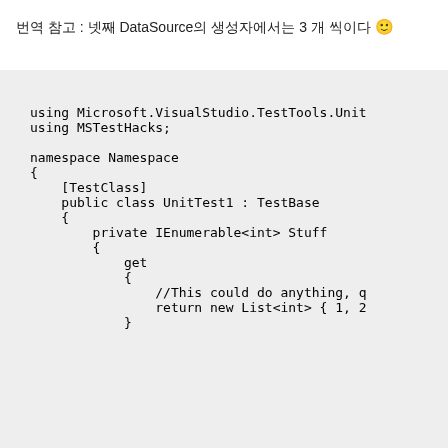번역 참고 : 넷째 DataSource의 생성자에서는 3 개 씩이다 🙂
[Figure (screenshot): Code block showing C# unit test code using Microsoft.VisualStudio.TestTools.UnitTesting and MSTestHacks, with namespace Namespace containing a TestClass public class UnitTest1 : TestBase with a private IEnumerable<int> Stuff property with a get accessor containing a comment '//This could do anything, q' and 'return new List<int> { 1, 2' followed by a closing brace.]